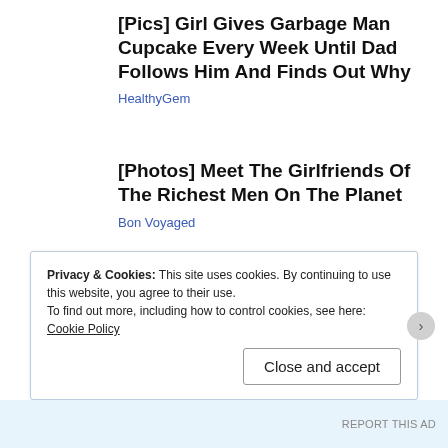[Pics] Girl Gives Garbage Man Cupcake Every Week Until Dad Follows Him And Finds Out Why
HealthyGem
[Photos] Meet The Girlfriends Of The Richest Men On The Planet
Bon Voyaged
Privacy & Cookies: This site uses cookies. By continuing to use this website, you agree to their use.
To find out more, including how to control cookies, see here: Cookie Policy